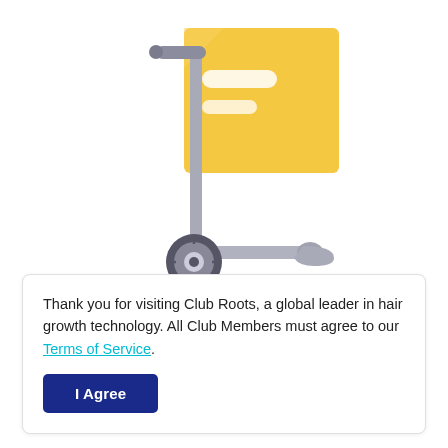[Figure (illustration): A flat-style illustration of a hand truck / dolly with a yellow box/package with two white horizontal stripes on it, a grey vertical pole with a horizontal handle, and two dark grey wheels at the base.]
Thank you for visiting Club Roots, a global leader in hair growth technology. All Club Members must agree to our Terms of Service.